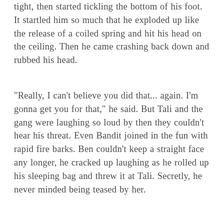tight, then started tickling the bottom of his foot. It startled him so much that he exploded up like the release of a coiled spring and hit his head on the ceiling. Then he came crashing back down and rubbed his head.
"Really, I can't believe you did that... again. I'm gonna get you for that," he said. But Tali and the gang were laughing so loud by then they couldn't hear his threat. Even Bandit joined in the fun with rapid fire barks. Ben couldn't keep a straight face any longer, he cracked up laughing as he rolled up his sleeping bag and threw it at Tali. Secretly, he never minded being teased by her.